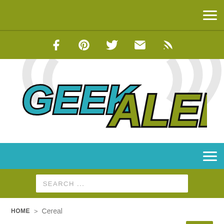Top navigation bar with hamburger menu
Social links bar: Facebook, Pinterest, Twitter, Email, RSS
[Figure (logo): GeekAlerts logo with teal 'GEEK' and yellow-green 'ALERTS' text with black outline, on white background with grey signal/wifi arc watermark]
Teal navigation bar with hamburger menu
Search bar with placeholder text SEARCH ...
HOME > Cereal
Cereal